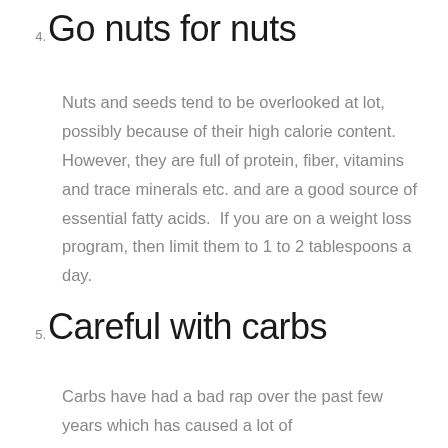4. Go nuts for nuts
Nuts and seeds tend to be overlooked at lot, possibly because of their high calorie content. However, they are full of protein, fiber, vitamins and trace minerals etc. and are a good source of essential fatty acids.  If you are on a weight loss program, then limit them to 1 to 2 tablespoons a day.
5. Careful with carbs
Carbs have had a bad rap over the past few years which has caused a lot of